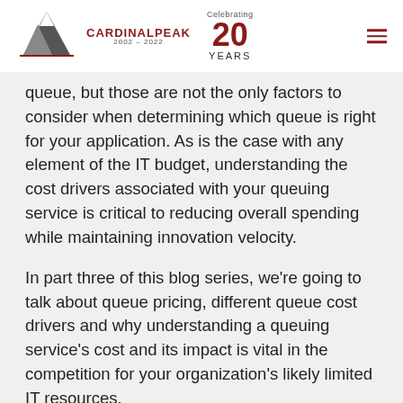Cardinal Peak 2002–2022 | Celebrating 20 YEARS
queue, but those are not the only factors to consider when determining which queue is right for your application. As is the case with any element of the IT budget, understanding the cost drivers associated with your queuing service is critical to reducing overall spending while maintaining innovation velocity.
In part three of this blog series, we're going to talk about queue pricing, different queue cost drivers and why understanding a queuing service's cost and its impact is vital in the competition for your organization's likely limited IT resources.